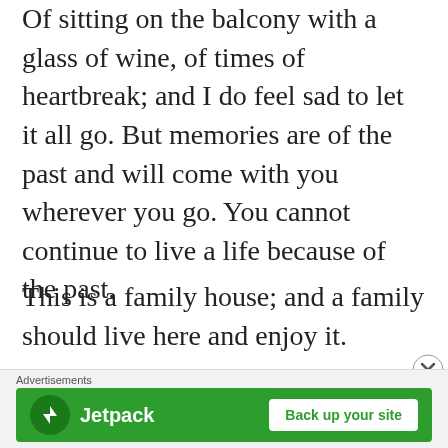Of sitting on the balcony with a glass of wine, of times of heartbreak; and I do feel sad to let it all go. But memories are of the past and will come with you wherever you go. You cannot continue to live a life because of the past.
This is a family house; and a family should live here and enjoy it.
November 2014 – The buyer
[Figure (other): Jetpack advertisement banner with green background, Jetpack logo and 'Back up your site' button]